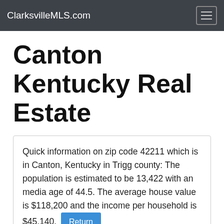ClarksvilleMLS.com
Canton Kentucky Real Estate
Quick information on zip code 42211 which is in Canton, Kentucky in Trigg county: The population is estimated to be 13,422 with an media age of 44.5. The average house value is $118,200 and the income per household is $45,140.  Return
Finding the "Right" real